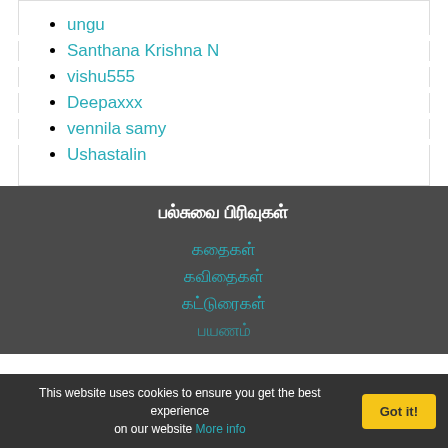ungu
Santhana Krishna N
vishu555
Deepaxxx
vennila samy
Ushastalin
பல்சுவை பிரிவுகள்
கதைகள்
கவிதைகள்
கட்டுரைகள்
பயணம்
This website uses cookies to ensure you get the best experience on our website More info Got it!